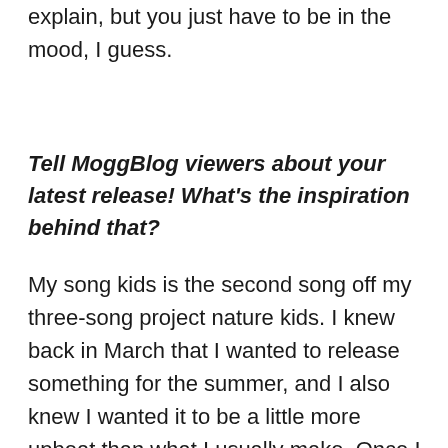explain, but you just have to be in the mood, I guess.
Tell MoggBlog viewers about your latest release! What's the inspiration behind that?
My song kids is the second song off my three-song project nature kids. I knew back in March that I wanted to release something for the summer, and I also knew I wanted it to be a little more upbeat than what I usually make. Once I finished the beat, I knew I wanted to have a feature on it. I sent it to Michael Kraun, and within